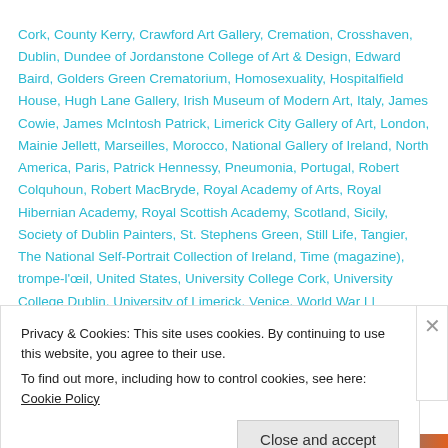Cork, County Kerry, Crawford Art Gallery, Cremation, Crosshaven, Dublin, Dundee of Jordanstone College of Art & Design, Edward Baird, Golders Green Crematorium, Homosexuality, Hospitalfield House, Hugh Lane Gallery, Irish Museum of Modern Art, Italy, James Cowie, James McIntosh Patrick, Limerick City Gallery of Art, London, Mainie Jellett, Marseilles, Morocco, National Gallery of Ireland, North America, Paris, Patrick Hennessy, Pneumonia, Portugal, Robert Colquhoun, Robert MacBryde, Royal Academy of Arts, Royal Hibernian Academy, Royal Scottish Academy, Scotland, Sicily, Society of Dublin Painters, St. Stephens Green, Still Life, Tangier, The National Self-Portrait Collection of Ireland, Time (magazine), trompe-l'œil, United States, University College Cork, University College Dublin, University of Limerick, Venice, World War I | Permalink.
Death of Ulysses S. Grant, 18th President of
Privacy & Cookies: This site uses cookies. By continuing to use this website, you agree to their use.
To find out more, including how to control cookies, see here: Cookie Policy